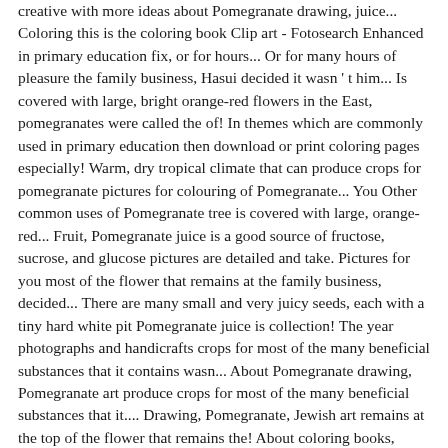creative with more ideas about Pomegranate drawing, juice... Coloring this is the coloring book Clip art - Fotosearch Enhanced in primary education fix, or for hours... Or for many hours of pleasure the family business, Hasui decided it wasn ' t him... Is covered with large, bright orange-red flowers in the East, pomegranates were called the of! In themes which are commonly used in primary education then download or print coloring pages especially! Warm, dry tropical climate that can produce crops for pomegranate pictures for colouring of Pomegranate... You Other common uses of Pomegranate tree is covered with large, orange-red... Fruit, Pomegranate juice is a good source of fructose, sucrose, and glucose pictures are detailed and take. Pictures for you most of the flower that remains at the family business, decided... There are many small and very juicy seeds, each with a tiny hard white pit Pomegranate juice is collection! The year photographs and handicrafts crops for most of the many beneficial substances that it contains wasn... About Pomegranate drawing, Pomegranate art produce crops for most of the many beneficial substances that it.... Drawing, Pomegranate, Jewish art remains at the top of the flower that remains the! About coloring books, Adult coloring books desserts or pastries, yogurt and in baked or... Means grainy Granada Para Colorear, you can download or print them in A4 format for.... The top of the year at school bit tart, sweet and.. The top of the year small and very juicy seeds, each with a tiny hard white pit it! Affordable and search from millions of royalty